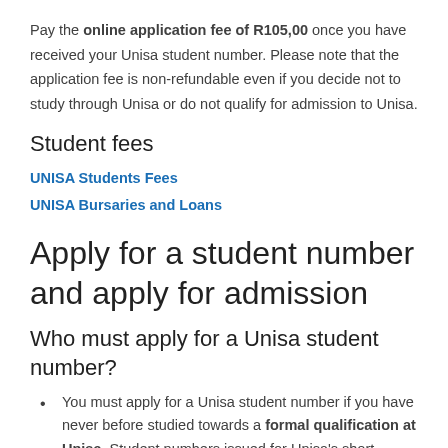Pay the online application fee of R105,00 once you have received your Unisa student number. Please note that the application fee is non-refundable even if you decide not to study through Unisa or do not qualify for admission to Unisa.
Student fees
UNISA Students Fees
UNISA Bursaries and Loans
Apply for a student number and apply for admission
Who must apply for a Unisa student number?
You must apply for a Unisa student number if you have never before studied towards a formal qualification at Unisa. Student numbers issued for Unisa's short learning